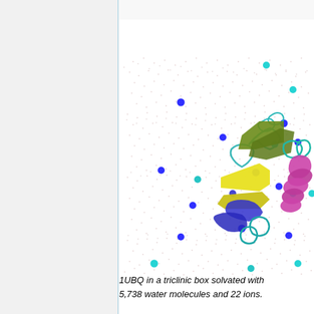[Figure (illustration): Molecular visualization of 1UBQ protein structure in a triclinic solvation box. The protein is shown in ribbon/cartoon representation with secondary structure elements colored in yellow (beta sheets), olive/dark yellow (loops), purple/magenta (alpha helices), blue (beta strands), and teal (coils/turns). The protein is surrounded by a dense cloud of small red/pink dots representing water molecules, with larger blue spheres and cyan/teal spheres scattered throughout representing ions.]
1UBQ in a triclinic box solvated with 5,738 water molecules and 22 ions.